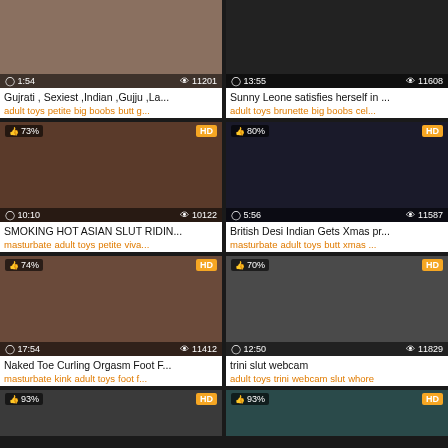[Figure (screenshot): Video thumbnail grid - adult video website listing]
Gujrati , Sexiest ,Indian ,Gujju ,La...
adult toys petite big boobs butt g...
Sunny Leone satisfies herself in ...
adult toys brunette big boobs cel...
SMOKING HOT ASIAN SLUT RIDIN...
masturbate adult toys petite viva...
British Desi Indian Gets Xmas pr...
masturbate adult toys butt xmas ...
Naked Toe Curling Orgasm Foot F...
masturbate kink adult toys foot f...
trini slut webcam
adult toys trini webcam slut whore